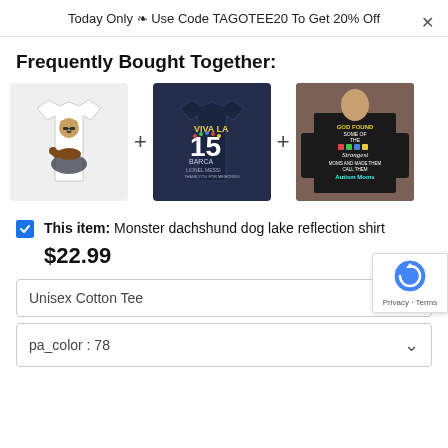Today Only ❧ Use Code TAGOTEE20 To Get 20% Off
Frequently Bought Together:
[Figure (photo): Three t-shirts shown side by side with plus signs between them: (1) white shirt with monster dachshund dog lake reflection graphic, (2) navy blue shirt with '15 years of Barca' graphic, (3) black shirt with 'God Found Some of the Strongest moms and made them Autism Moms' text graphic]
This item: Monster dachshund dog lake reflection shirt
$22.99
Unisex Cotton Tee
pa_color : 78